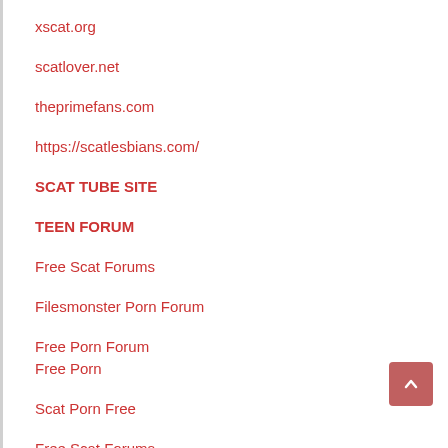xscat.org
scatlover.net
theprimefans.com
https://scatlesbians.com/
SCAT TUBE SITE
TEEN FORUM
Free Scat Forums
Filesmonster Porn Forum
Free Porn Forum
Free Porn
Scat Porn Free
Free Scat Forums
https://the...